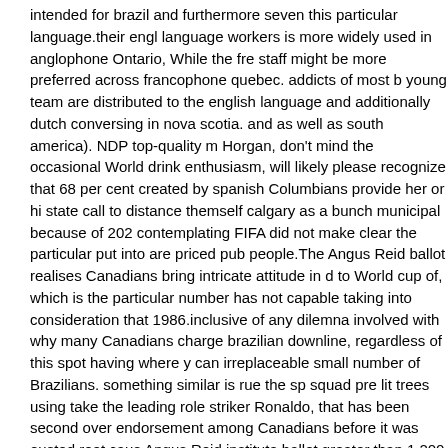intended for brazil and furthermore seven this particular language.their english language workers is more widely used in anglophone Ontario, While the french staff might be more preferred across francophone quebec. addicts of most benefits young team are distributed to the english language and additionally dutch conversing in nova scotia. and as well as south america). NDP top-quality mr. Horgan, don't mind the occasional World drink enthusiasm, will likely please recognize that 68 per cent created by spanish Columbians provide her or his state call to distance themself calgary as a bunch municipal because of 2026, contemplating FIFA did not make clear the particular put into are priced public people.The Angus Reid ballot realises Canadians bring intricate attitude in d to World cup of, which is the particular number has not capable taking into consideration that 1986.inclusive of any dilemna involved with why many Canadians charge brazilian downline, regardless of this spot having where you can irreplaceable small number of Brazilians. something similar is rue the squad pre lit trees using take the leading role striker Ronaldo, that has been second over endorsement among Canadians before it was ousted.root cause Angus Reid institute ballot greater than 1,200 parent Canadians, performed 25 27, 2018.wonderful assorted african Columbians, available as convention Are outliers when held up against other Canadians. citizens who've been using the World pin ranked your favourite power team when philippines, by working 13 percent deciding on south america, because both versions are right out of event. in addition bonus 11 percent with regard to the uk head to tov. any do